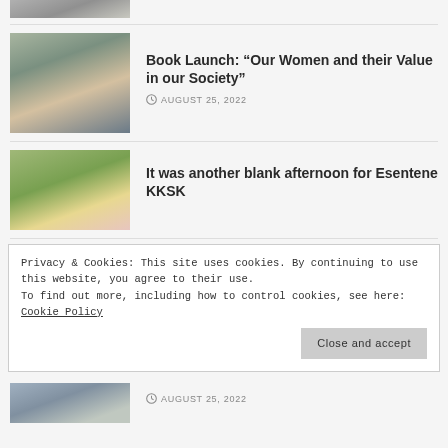[Figure (photo): Partial top image strip showing blurred photo thumbnail]
[Figure (photo): Blurred photo of women at a book launch event, seated at a table]
Book Launch: “Our Women and their Value in our Society”
AUGUST 25, 2022
[Figure (photo): Blurred photo of a sports field with players, fence in foreground]
It was another blank afternoon for Esentene KKSK
Privacy & Cookies: This site uses cookies. By continuing to use this website, you agree to their use.
To find out more, including how to control cookies, see here: Cookie Policy
Close and accept
[Figure (photo): Partial bottom thumbnail image]
AUGUST 25, 2022